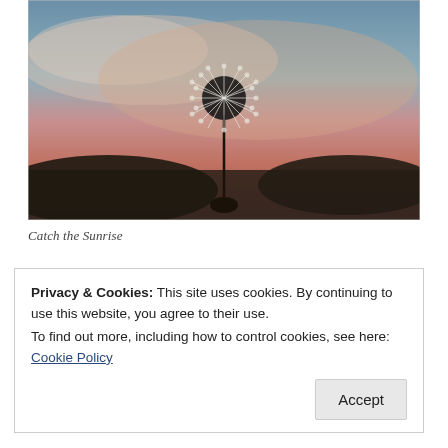[Figure (photo): A dandelion silhouetted against a sunset sky with pink, orange, and blue-grey tones. A hand holds the dandelion stem from below.]
Catch the Sunrise
Privacy & Cookies: This site uses cookies. By continuing to use this website, you agree to their use. To find out more, including how to control cookies, see here: Cookie Policy